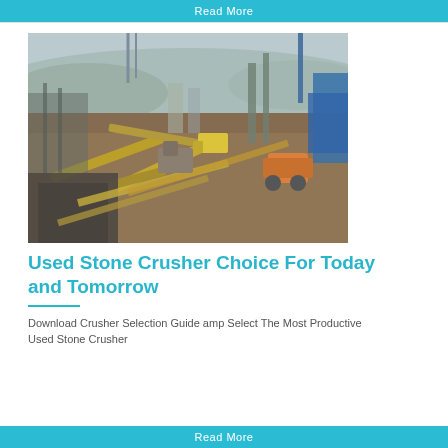Read More
[Figure (photo): Aerial view of a large stone crusher / mining industrial facility with conveyor belts, heavy machinery, excavators, and earthworks on a hazy day]
Used Stone Crusher Choice For Today and Tomorrow
Download Crusher Selection Guide amp Select The Most Productive Used Stone Crusher
Read More